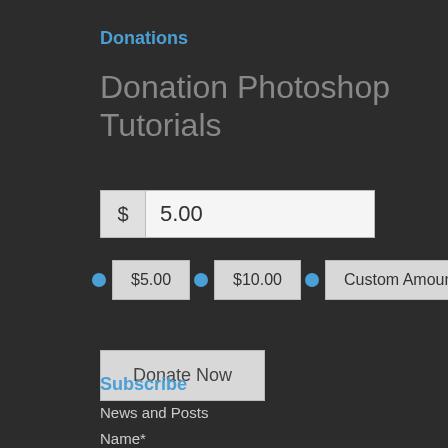Donations
Donation Photoshop Tutorials
[Figure (screenshot): Donation amount input field showing $ symbol and 5.00 value]
[Figure (screenshot): Radio button options: $5.00, $10.00, Custom Amount]
[Figure (screenshot): Donate Now button]
Subscribe
News and Posts
Name*